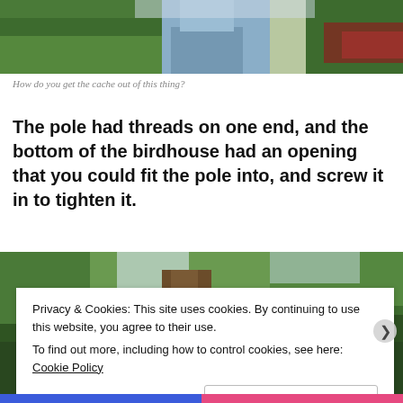[Figure (photo): Outdoor photo showing a person in a blue/grey outfit among green trees and foliage, with a car visible in the background on the right.]
How do you get the cache out of this thing?
The pole had threads on one end, and the bottom of the birdhouse had an opening that you could fit the pole into, and screw it in to tighten it.
[Figure (photo): Outdoor photo looking up at trees with dense green canopy, a large tree trunk visible in the center.]
Privacy & Cookies: This site uses cookies. By continuing to use this website, you agree to their use.
To find out more, including how to control cookies, see here: Cookie Policy
[Close and accept button]